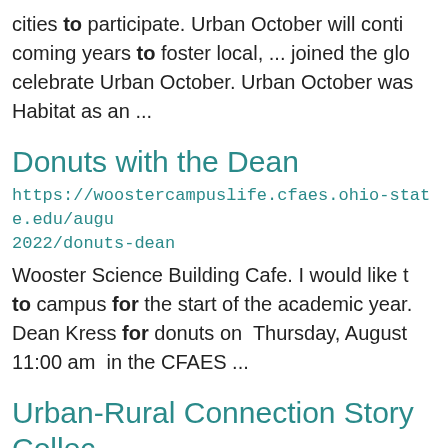cities to participate. Urban October will conti coming years to foster local, ... joined the glo celebrate Urban October. Urban October was Habitat as an ...
Donuts with the Dean
https://woostercampuslife.cfaes.ohio-state.edu/augu 2022/donuts-dean
Wooster Science Building Cafe. I would like t to campus for the start of the academic year. Dean Kress for donuts on Thursday, August 11:00 am in the CFAES ...
Urban-Rural Connection Story Collec
https://urban-extension.cfaes.ohio-state.edu/news/u